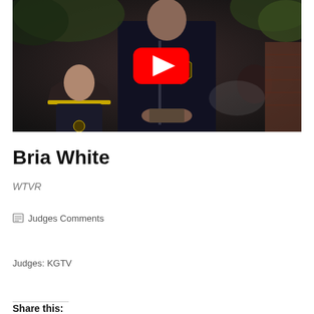[Figure (screenshot): YouTube video thumbnail showing uniformed fire/police officials at an outdoor event, with YouTube play button overlay in center]
Bria White
WTVR
🗒 Judges Comments
Judges: KGTV
Share this: